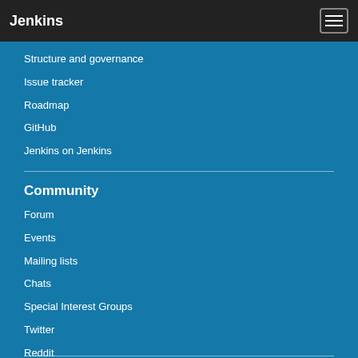Jenkins
Structure and governance
Issue tracker
Roadmap
GitHub
Jenkins on Jenkins
Community
Forum
Events
Mailing lists
Chats
Special Interest Groups
Twitter
Reddit